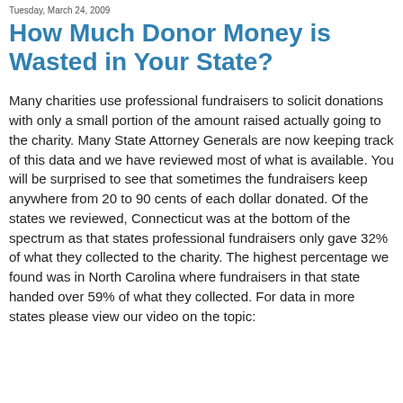Tuesday, March 24, 2009
How Much Donor Money is Wasted in Your State?
Many charities use professional fundraisers to solicit donations with only a small portion of the amount raised actually going to the charity. Many State Attorney Generals are now keeping track of this data and we have reviewed most of what is available. You will be surprised to see that sometimes the fundraisers keep anywhere from 20 to 90 cents of each dollar donated. Of the states we reviewed, Connecticut was at the bottom of the spectrum as that states professional fundraisers only gave 32% of what they collected to the charity. The highest percentage we found was in North Carolina where fundraisers in that state handed over 59% of what they collected. For data in more states please view our video on the topic: